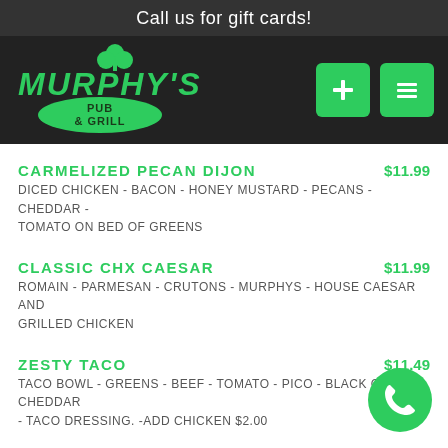Call us for gift cards!
[Figure (logo): Murphy's Pub & Grill logo with shamrock, green text on dark background]
CARMELIZED PECAN DIJON  $11.99
DICED CHICKEN - BACON - HONEY MUSTARD - PECANS - CHEDDAR - TOMATO ON BED OF GREENS
CLASSIC CHX CAESAR  $11.99
ROMAIN - PARMESAN - CRUTONS - MURPHYS - HOUSE CAESAR AND GRILLED CHICKEN
ZESTY TACO  $11.49
TACO BOWL - GREENS - BEEF - TOMATO - PICO - BLACK OLIVES - CHEDDAR - TACO DRESSING. -ADD CHICKEN $2.00